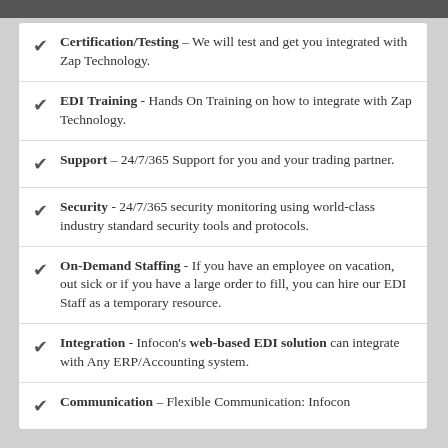Certification/Testing – We will test and get you integrated with Zap Technology.
EDI Training - Hands On Training on how to integrate with Zap Technology.
Support – 24/7/365 Support for you and your trading partner.
Security - 24/7/365 security monitoring using world-class industry standard security tools and protocols.
On-Demand Staffing - If you have an employee on vacation, out sick or if you have a large order to fill, you can hire our EDI Staff as a temporary resource.
Integration - Infocon's web-based EDI solution can integrate with Any ERP/Accounting system.
Communication – Flexible Communication: Infocon